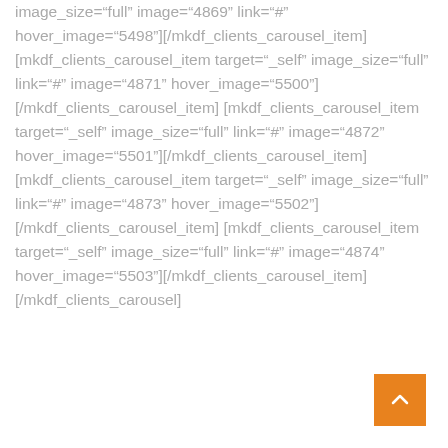image_size="full" image="4869" link="#" hover_image="5498"][/mkdf_clients_carousel_item][mkdf_clients_carousel_item target="_self" image_size="full" link="#" image="4871" hover_image="5500"][/mkdf_clients_carousel_item][mkdf_clients_carousel_item target="_self" image_size="full" link="#" image="4872" hover_image="5501"][/mkdf_clients_carousel_item][mkdf_clients_carousel_item target="_self" image_size="full" link="#" image="4873" hover_image="5502"][/mkdf_clients_carousel_item][mkdf_clients_carousel_item target="_self" image_size="full" link="#" image="4874" hover_image="5503"][/mkdf_clients_carousel_item][/mkdf_clients_carousel]
[Figure (other): Orange back-to-top button with upward chevron arrow in bottom-right corner]